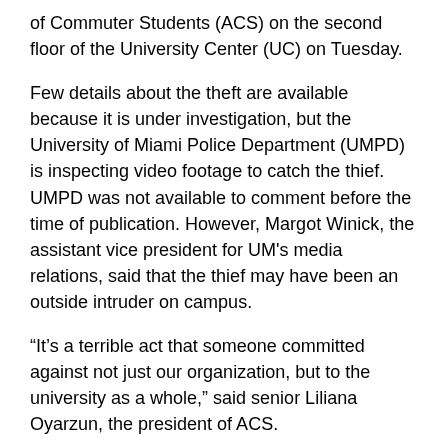of Commuter Students (ACS) on the second floor of the University Center (UC) on Tuesday.
Few details about the theft are available because it is under investigation, but the University of Miami Police Department (UMPD) is inspecting video footage to catch the thief. UMPD was not available to comment before the time of publication. However, Margot Winick, the assistant vice president for UM's media relations, said that the thief may have been an outside intruder on campus.
“It’s a terrible act that someone committed against not just our organization, but to the university as a whole,” said senior Liliana Oyarzun, the president of ACS.
One of the laptops stolen belonged to sophomore Bryanna Nuñez.